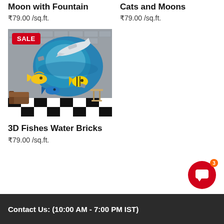Moon with Fountain
₹79.00 /sq.ft.
Cats and Moons
₹79.00 /sq.ft.
[Figure (photo): 3D wallpaper showing colorful fish breaking through a brick wall with water, airplane, and checkered floor. SALE badge in red on top-left.]
3D Fishes Water Bricks
₹79.00 /sq.ft.
Contact Us: (10:00 AM - 7:00 PM IST)